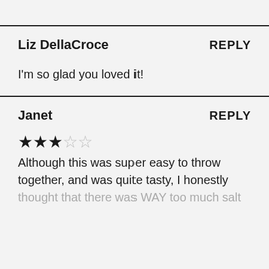Liz DellaCroce   REPLY
I'm so glad you loved it!
Janet   REPLY
★★★☆☆
Although this was super easy to throw together, and was quite tasty, I honestly thought that there was WAY too much salt in the recipe, I will definitely lessen that